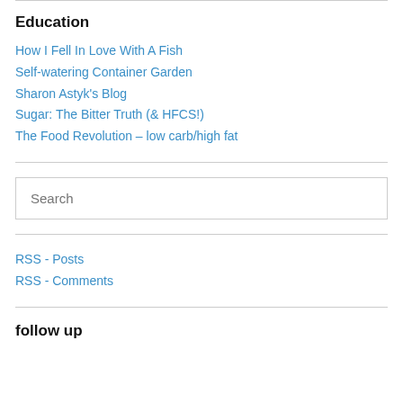Education
How I Fell In Love With A Fish
Self-watering Container Garden
Sharon Astyk's Blog
Sugar: The Bitter Truth (& HFCS!)
The Food Revolution – low carb/high fat
Search
RSS - Posts
RSS - Comments
follow up